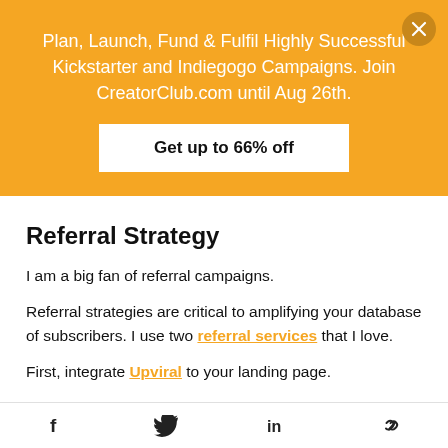Plan, Launch, Fund & Fulfil Highly Successful Kickstarter and Indiegogo Campaigns. Join CreatorClub.com until Aug 26th.
Get up to 66% off
Referral Strategy
I am a big fan of referral campaigns.
Referral strategies are critical to amplifying your database of subscribers. I use two referral services that I love.
First, integrate Upviral to your landing page.
f  twitter  in  link